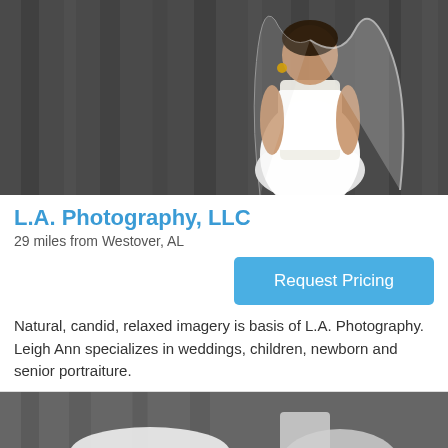[Figure (photo): Bride in white wedding dress and veil standing against a dark wooden wall background]
L.A. Photography, LLC
29 miles from Westover, AL
Request Pricing
Natural, candid, relaxed imagery is basis of L.A. Photography. Leigh Ann specializes in weddings, children, newborn and senior portraiture.
[Figure (photo): Partial black and white photo of a bride at the bottom of the page]